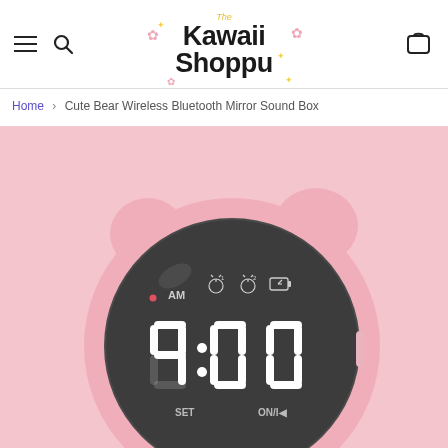The Kawaii Shoppu
Home > Cute Bear Wireless Bluetooth Mirror Sound Box
[Figure (photo): Pink kawaii bear-shaped digital alarm clock / bluetooth speaker with round mirrored face showing 9:00, bear ears on top, AM indicator, SET and ON buttons, on a pink background]